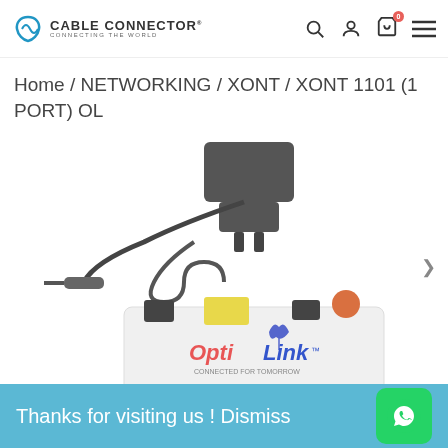CABLE CONNECTOR — CONNECTING THE WORLD
Home / NETWORKING / XONT / XONT 1101 (1 PORT) OL
[Figure (photo): Product photo showing an OptiLink XONT 1101 (1 Port) OL networking device — a white rectangular box with colored ports — and an accompanying power adapter/charger cable.]
Thanks for visiting us ! Dismiss